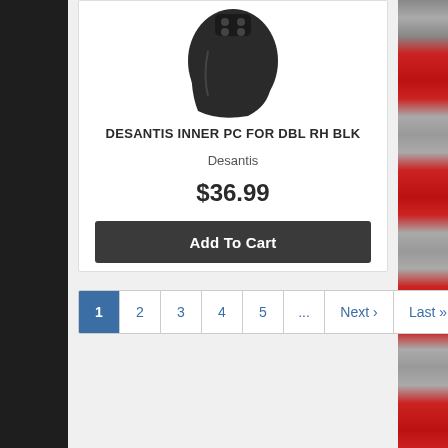[Figure (photo): Black gun holster product image at top of product card]
DESANTIS INNER PC FOR DBL RH BLK
Desantis
$36.99
Add To Cart
1  2  3  4  5  ...  Next ›  Last »